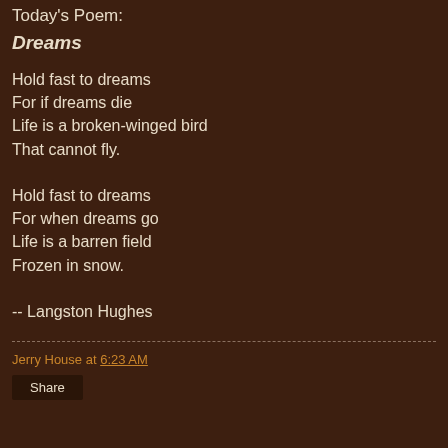Today's Poem:
Dreams
Hold fast to dreams
For if dreams die
Life is a broken-winged bird
That cannot fly.

Hold fast to dreams
For when dreams go
Life is a barren field
Frozen in snow.

-- Langston Hughes
Jerry House at 6:23 AM